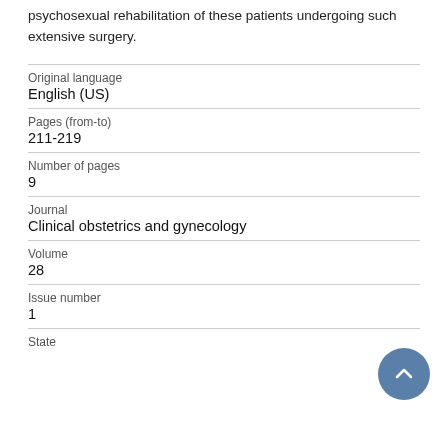psychosexual rehabilitation of these patients undergoing such extensive surgery.
| Original language | English (US) |
| Pages (from-to) | 211-219 |
| Number of pages | 9 |
| Journal | Clinical obstetrics and gynecology |
| Volume | 28 |
| Issue number | 1 |
| State |  |